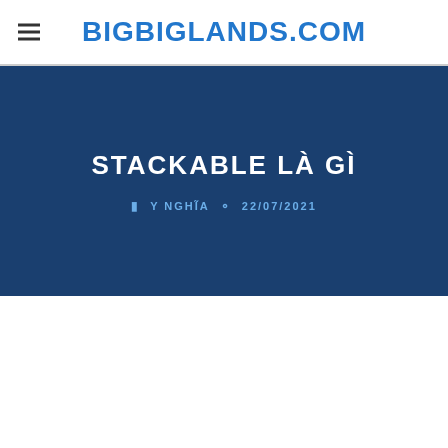BIGBIGLANDS.COM
STACKABLE LÀ GÌ
Y NGHĨA  22/07/2021